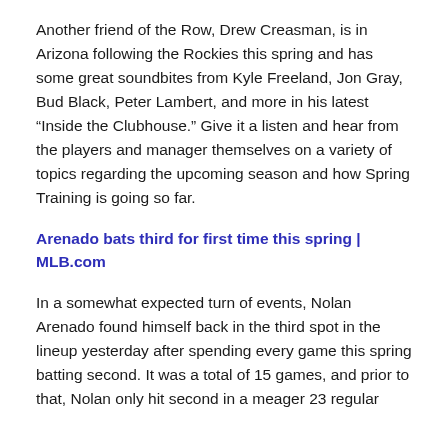Another friend of the Row, Drew Creasman, is in Arizona following the Rockies this spring and has some great soundbites from Kyle Freeland, Jon Gray, Bud Black, Peter Lambert, and more in his latest “Inside the Clubhouse.” Give it a listen and hear from the players and manager themselves on a variety of topics regarding the upcoming season and how Spring Training is going so far.
Arenado bats third for first time this spring | MLB.com
In a somewhat expected turn of events, Nolan Arenado found himself back in the third spot in the lineup yesterday after spending every game this spring batting second. It was a total of 15 games, and prior to that, Nolan only hit second in a meager 23 regular